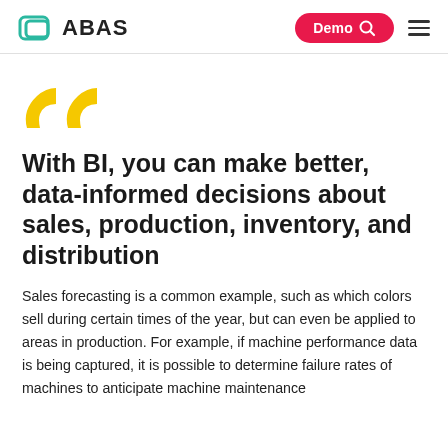ABAS | Demo
[Figure (illustration): Large yellow opening double quotation marks]
With BI, you can make better, data-informed decisions about sales, production, inventory, and distribution
Sales forecasting is a common example, such as which colors sell during certain times of the year, but can even be applied to areas in production. For example, if machine performance data is being captured, it is possible to determine failure rates of machines to anticipate machine maintenance